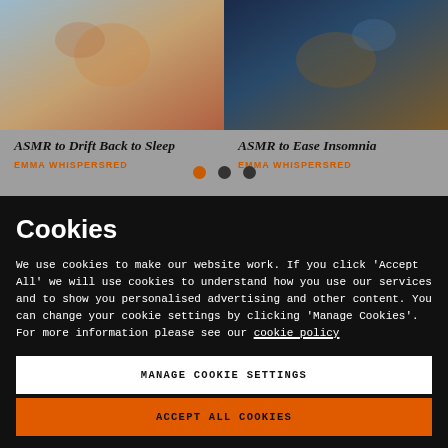[Figure (screenshot): Card image left - abstract warm tones ASMR to Drift Back to Sleep thumbnail]
[Figure (screenshot): Card image right - dark blue/gold tones ASMR to Ease Insomnia thumbnail]
ASMR to Drift Back to Sleep
EMMA WHISPERSRED
ASMR to Ease Insomnia
EMMA WHISPERSRED
Cookies
We use cookies to make our website work. If you click 'Accept All' we will use cookies to understand how you use our services and to show you personalised advertising and other content. You can change your cookie settings by clicking 'Manage Cookies'. For more information please see our cookie policy
MANAGE COOKIE SETTINGS
ACCEPT ALL COOKIES